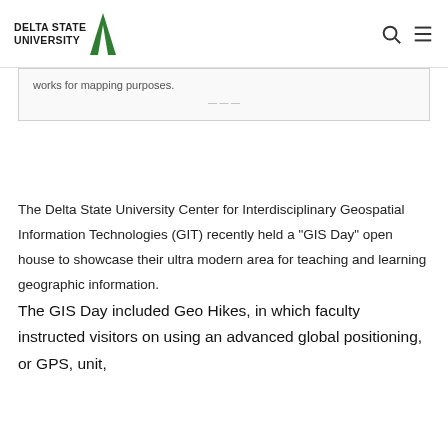DELTA STATE UNIVERSITY
works for mapping purposes.
The Delta State University Center for Interdisciplinary Geospatial Information Technologies (GIT) recently held a “GIS Day” open house to showcase their ultra modern area for teaching and learning geographic information.
The GIS Day included Geo Hikes, in which faculty instructed visitors on using an advanced global positioning, or GPS, unit,